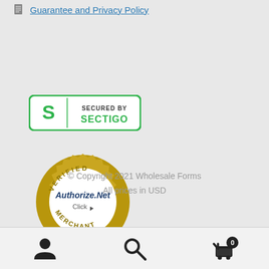Guarantee and Privacy Policy
[Figure (logo): Secured by Sectigo SSL badge - green border with S logo and text SECURED BY SECTIGO]
[Figure (logo): Authorize.Net Verified Merchant Click badge - gold gear/seal with Authorize.Net text in blue/dark]
© Copyright 2021 Wholesale Forms
All prices in USD
[Figure (other): Bottom navigation bar with user account icon, search icon, and cart icon with badge showing 0]